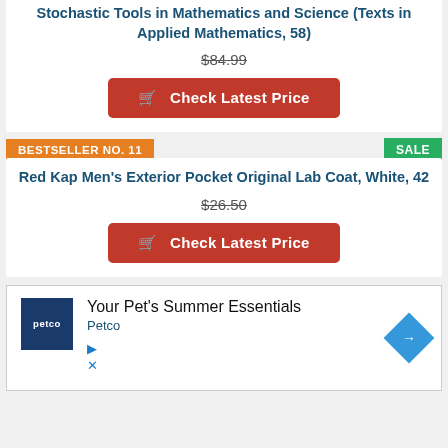Stochastic Tools in Mathematics and Science (Texts in Applied Mathematics, 58)
$84.99
Check Latest Price
BESTSELLER NO. 11
SALE
Red Kap Men's Exterior Pocket Original Lab Coat, White, 42
$26.50
Check Latest Price
[Figure (other): Petco advertisement banner: Your Pet's Summer Essentials, Petco logo, blue arrow icon, play and close buttons]